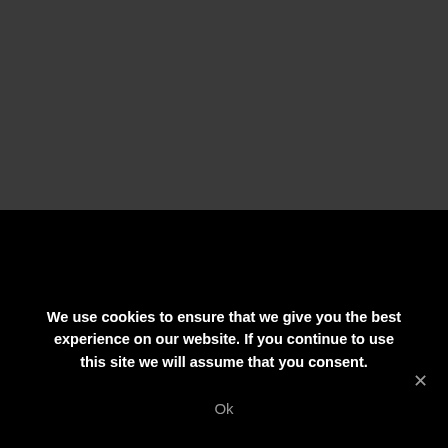[Figure (screenshot): Dark gray background upper half of page]
We use cookies to ensure that we give you the best experience on our website. If you continue to use this site we will assume that you consent.
Ok